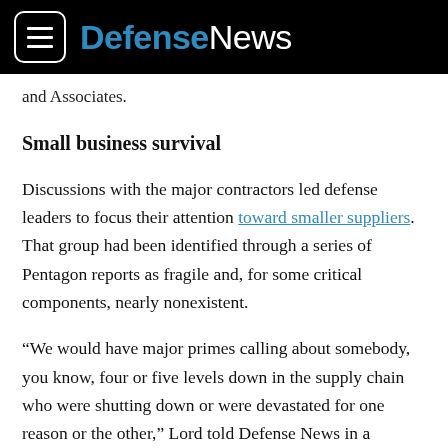Defense News
and Associates.
Small business survival
Discussions with the major contractors led defense leaders to focus their attention toward smaller suppliers. That group had been identified through a series of Pentagon reports as fragile and, for some critical components, nearly nonexistent.
“We would have major primes calling about somebody, you know, four or five levels down in the supply chain who were shutting down or were devastated for one reason or the other,” Lord told Defense News in a